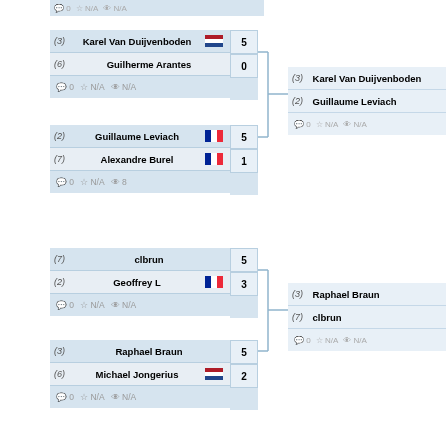[Figure (flowchart): Tournament bracket showing match results. Top half: Karel Van Duijvenboden (3) beat Guilherme Arantes (6) 5-0; Guillaume Leviach (2) beat Alexandre Burel (7) 5-1; Karel Van Duijvenboden vs Guillaume Leviach next round. Bottom half: clbrun (7) beat Geoffrey L (2) 5-3; Raphael Braun (3) beat Michael Jongerius (6) 5-2; Raphael Braun vs clbrun next round.]